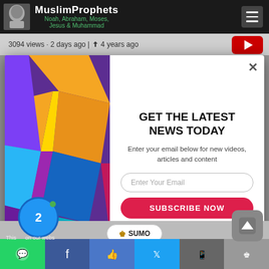MuslimProphets — Noah, Abraham, Moses, Jesus & Muhammad
3094 views · 2 days ago | 4 years ago
[Figure (screenshot): Newsletter signup modal popup with colorful geometric pattern on left, email subscription form on right with title GET THE LATEST NEWS TODAY, email input, SUBSCRIBE NOW button, and No Thanks link]
GET THE LATEST NEWS TODAY
Enter your email below for new videos, articles and content
Enter Your Email
SUBSCRIBE NOW
No Thanks
This on our webs — SUMO